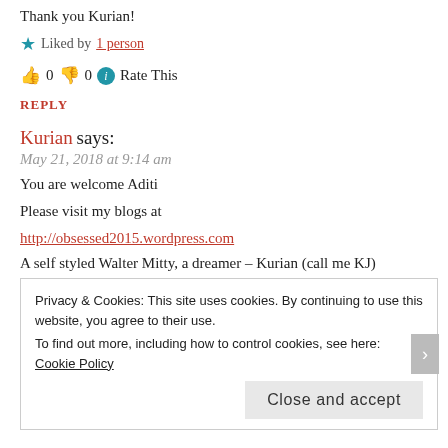Thank you Kurian!
★ Liked by 1 person
👍 0 👎 0 ℹ Rate This
REPLY
Kurian says:
May 21, 2018 at 9:14 am
You are welcome Aditi
Please visit my blogs at
http://obsessed2015.wordpress.com
A self styled Walter Mitty, a dreamer – Kurian (call me KJ)
Privacy & Cookies: This site uses cookies. By continuing to use this website, you agree to their use.
To find out more, including how to control cookies, see here: Cookie Policy
Close and accept